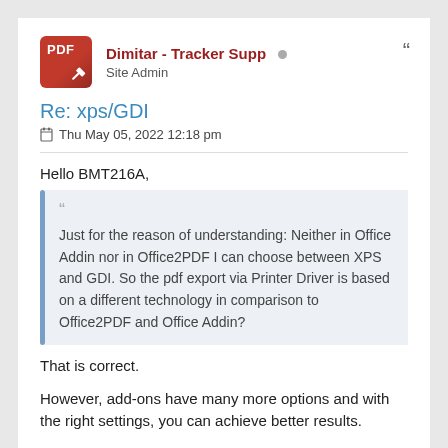Dimitar - Tracker Supp • Site Admin
Re: xps/GDI
Thu May 05, 2022 12:18 pm
Hello BMT216A,
Just for the reason of understanding: Neither in Office Addin nor in Office2PDF I can choose between XPS and GDI. So the pdf export via Printer Driver is based on a different technology in comparison to Office2PDF and Office Addin?
That is correct.
However, add-ons have many more options and with the right settings, you can achieve better results.